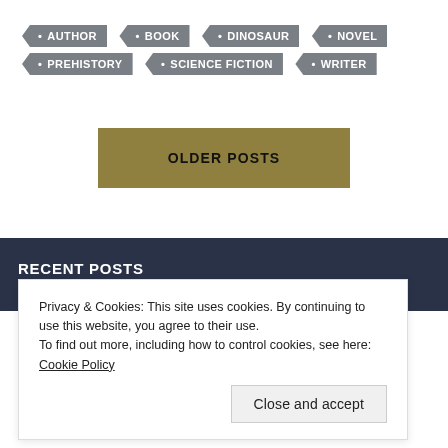AUTHOR BOOK DINOSAUR NOVEL PREHISTORY SCIENCE FICTION WRITER
OLDER POSTS
RECENT POSTS
Privacy & Cookies: This site uses cookies. By continuing to use this website, you agree to their use.
To find out more, including how to control cookies, see here: Cookie Policy
Close and accept